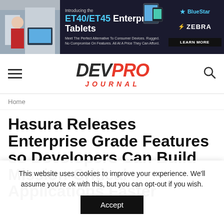[Figure (photo): Advertisement banner for Zebra ET40/ET45 Enterprise Tablets with BlueStar branding, showing tablet devices and a 'Learn More' button. Text reads 'Introducing the ET40/ET45 Enterprise Tablets. Meet The Perfect Alternative To Consumer Devices. Rugged. No Compromise On Features. All At A Price They Can Afford.']
DEVPRO JOURNAL
Home
Hasura Releases Enterprise Grade Features so Developers Can Build Mission-Critical Applications Faster
This website uses cookies to improve your experience. We'll assume you're ok with this, but you can opt-out if you wish.
Accept